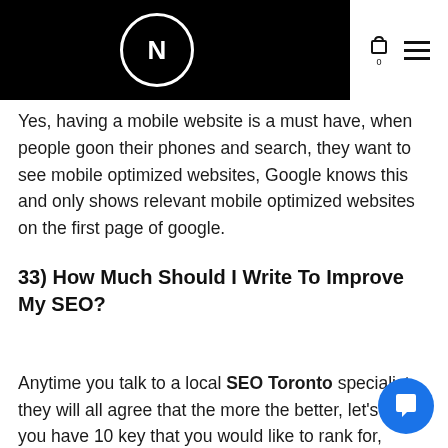[Figure (logo): Black header bar with circular logo containing the letter N, and cart/hamburger icons on the right]
Yes, having a mobile website is a must have, when people goon their phones and search, they want to see mobile optimized websites, Google knows this and only shows relevant mobile optimized websites on the first page of google.
33) How Much Should I Write To Improve My SEO?
Anytime you talk to a local SEO Toronto specialist, they will all agree that the more the better, let's say you have 10 key that you would like to rank for, consider